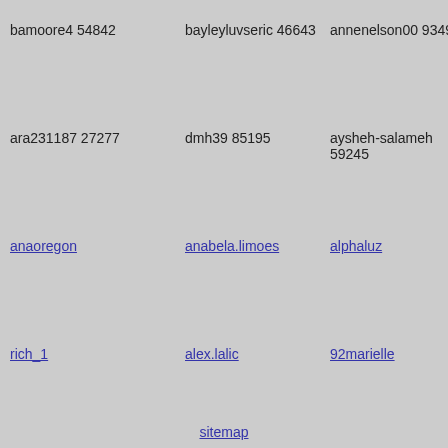bamoore4 54842
bayleyluvseric 46643
annenelson00 93494
ara231187 27277
dmh39 85195
aysheh-salameh 59245
anaoregon
anabela.limoes
alphaluz
rich_1
alex.lalic
92marielle
sitemap